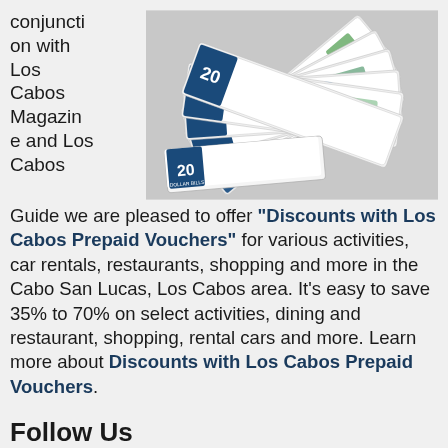conjunction with Los Cabos Magazine and Los Cabos Guide we are pleased to offer "Discounts with Los Cabos Prepaid Vouchers" for various activities, car rentals, restaurants, shopping and more in the Cabo San Lucas, Los Cabos area. It's easy to save 35% to 70% on select activities, dining and restaurant, shopping, rental cars and more. Learn more about Discounts with Los Cabos Prepaid Vouchers.
[Figure (photo): Fan of prepaid voucher booklets spread out, showing denominations of 20, with colorful logos and text on each voucher]
Follow Us